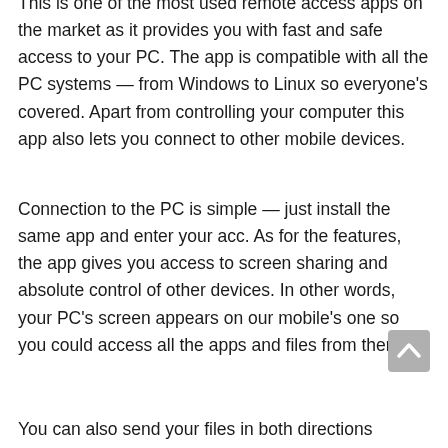This is one of the most used remote access apps on the market as it provides you with fast and safe access to your PC. The app is compatible with all the PC systems — from Windows to Linux so everyone's covered. Apart from controlling your computer this app also lets you connect to other mobile devices.
Connection to the PC is simple — just install the same app and enter your acc. As for the features, the app gives you access to screen sharing and absolute control of other devices. In other words, your PC's screen appears on our mobile's one so you could access all the apps and files from there.
You can also send your files in both directions